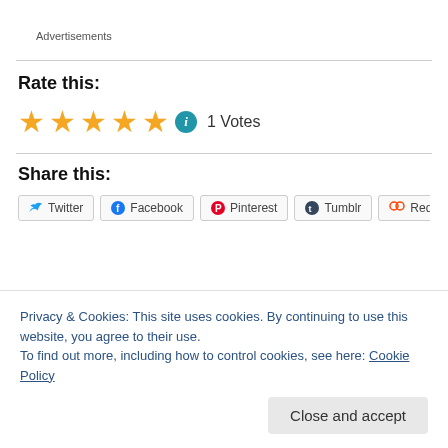Advertisements
Rate this:
★★★★★ ℹ 1 Votes
Share this:
Twitter  Facebook  Pinterest  Tumblr  Reddit
Privacy & Cookies: This site uses cookies. By continuing to use this website, you agree to their use.
To find out more, including how to control cookies, see here: Cookie Policy
Close and accept